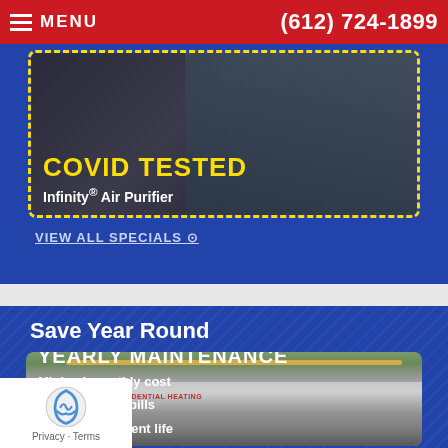MENU | (612) 724-1899
[Figure (photo): COVID TESTED promotional card with yellow dashed border showing Infinity® Air Purifier on dark background]
COVID TESTED
Infinity® Air Purifier
VIEW ALL SPECIALS ⊙
Save Year Round
[Figure (photo): Residential heating service van with ladder rack, text overlay showing YEARLY MAINTENANCE, Minimal monthly cost, Lower electric bills, Extend equipment life]
YEARLY MAINTENANCE
Minimal monthly cost
Lower electric bills
Extend equipment life